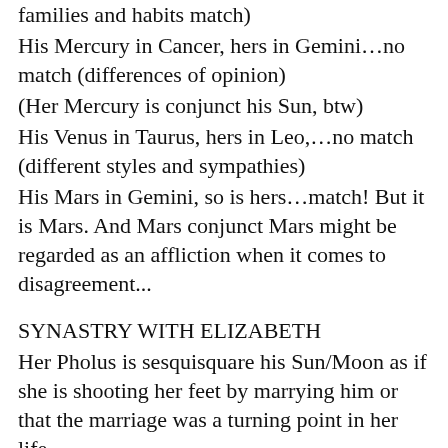families and habits match)
His Mercury in Cancer, hers in Gemini…no match (differences of opinion)
(Her Mercury is conjunct his Sun, btw)
His Venus in Taurus, hers in Leo,…no match (different styles and sympathies)
His Mars in Gemini, so is hers…match! But it is Mars. And Mars conjunct Mars might be regarded as an affliction when it comes to disagreement...
SYNASTRY WITH ELIZABETH
Her Pholus is sesquisquare his Sun/Moon as if she is shooting her feet by marrying him or that the marriage was a turning point in her life.
Her Neptune is exactly square his Ascendant and that means that she doesn't see him clearly as he is. Disappointment might follow...